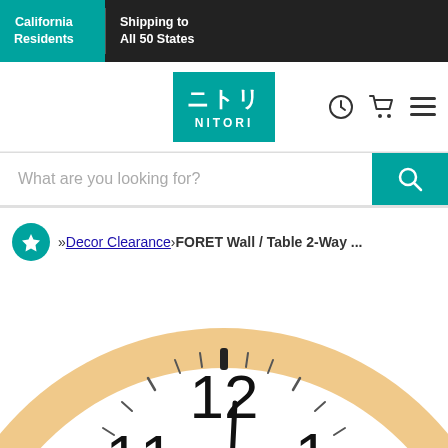California Residents | Shipping to All 50 States
[Figure (logo): Nitori logo - teal background with Japanese characters and NITORI text, with clock/history icon, cart icon, and hamburger menu icon]
What are you looking for?
Decor Clearance › FORET Wall / Table 2-Way ...
[Figure (photo): Close-up of a round analog wall/table clock with a light wood frame, white clock face, and black numerals showing 11, 12, 1, 10, 2 visible. Clock hands visible pointing near 12.]